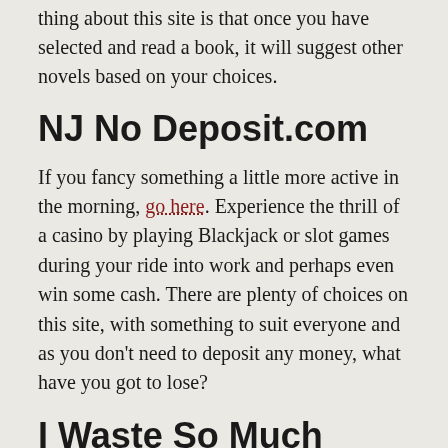thing about this site is that once you have selected and read a book, it will suggest other novels based on your choices.
NJ No Deposit.com
If you fancy something a little more active in the morning, go here. Experience the thrill of a casino by playing Blackjack or slot games during your ride into work and perhaps even win some cash. There are plenty of choices on this site, with something to suit everyone and as you don't need to deposit any money, what have you got to lose?
I Waste So Much Time
Although you will, as the name of the site suggests, waste a lot of time on this site, it actually saves you a lot of time by drawing together an abundance of amusing and touching things from across the web. Read hilarious real-life anecdotes, discover funny memes and unbelievable but very real facts from all over the world. This site is so much fun you need to be